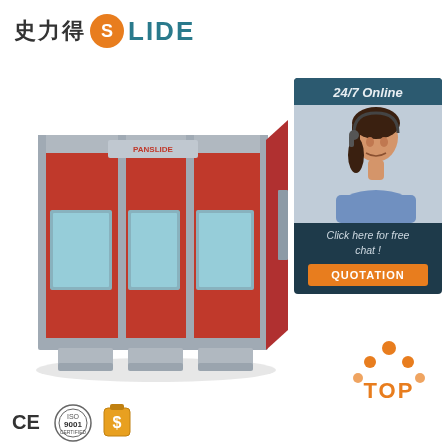[Figure (logo): Slide brand logo with Chinese characters 史力得 and SLIDE text with orange S emblem in teal circle]
[Figure (photo): Red industrial spray paint booth / car paint booth with silver frame, three windowed panels, on white background]
[Figure (infographic): 24/7 Online chat box with woman wearing headset on dark teal background, Click here for free chat, QUOTATION button in orange]
[Figure (logo): TOP badge with orange dot triangle pattern above orange TOP text]
[Figure (logo): CE certification mark, ISO 9001 badge, and dollar sign trophy badge]